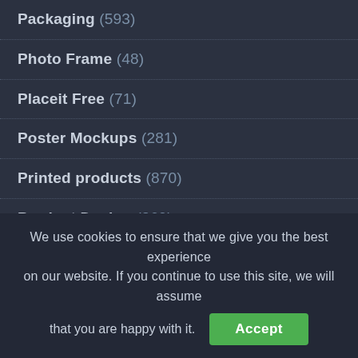Packaging (593)
Photo Frame (48)
Placeit Free (71)
Poster Mockups (281)
Printed products (870)
Product Design (269)
Signs Mockups (61)
Sketchbook (38)
We use cookies to ensure that we give you the best experience on our website. If you continue to use this site, we will assume that you are happy with it.
Accept